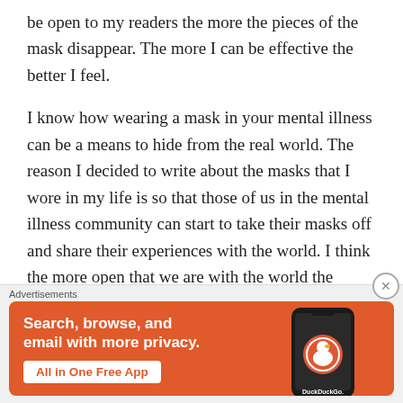be open to my readers the more the pieces of the mask disappear. The more I can be effective the better I feel.

I know how wearing a mask in your mental illness can be a means to hide from the real world. The reason I decided to write about the masks that I wore in my life is so that those of us in the mental illness community can start to take their masks off and share their experiences with the world. I think the more open that we are with the world the better the stigma on mental illness can start to change. It gets tiring to hear mental illness only talked about when there is a tragic mass shooting and
[Figure (other): DuckDuckGo advertisement banner with orange background showing 'Search, browse, and email with more privacy. All in One Free App' with a phone mockup displaying the DuckDuckGo logo]